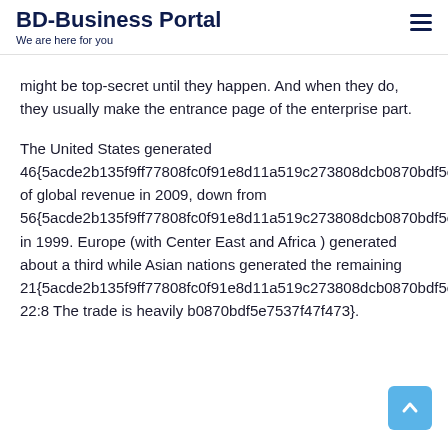BD-Business Portal
We are here for you
might be top-secret until they happen. And when they do, they usually make the entrance page of the enterprise part.
The United States generated 46{5acde2b135f9ff77808fc0f91e8d11a519c273808dcb0870bdf5e7537f47f473} of global revenue in 2009, down from 56{5acde2b135f9ff77808fc0f91e8d11a519c273808dcb0870bdf5e7537f47f473} in 1999. Europe (with Center East and Africa ) generated about a third while Asian nations generated the remaining 21{5acde2b135f9ff77808fc0f91e8d11a519c273808dcb0870bdf5e7537f47f473}. The trade is heavily b0870bdf5e7537f47f473}. 22:8 The trade is heavily